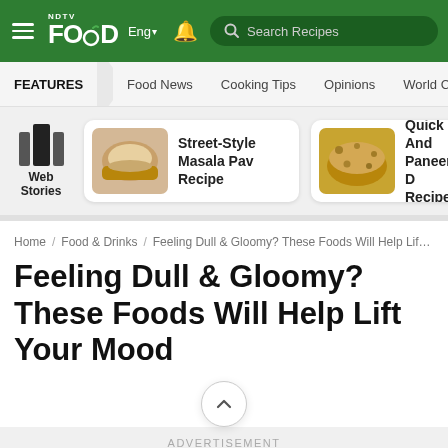NDTV Food | Eng | Search Recipes
FEATURES | Food News | Cooking Tips | Opinions | World Cuisine
[Figure (screenshot): Web Stories section with Street-Style Masala Pav Recipe card and partial Quick And Paneer Dosa Recipe card]
Home / Food & Drinks / Feeling Dull & Gloomy? These Foods Will Help Lif...
Feeling Dull & Gloomy? These Foods Will Help Lift Your Mood
ADVERTISEMENT